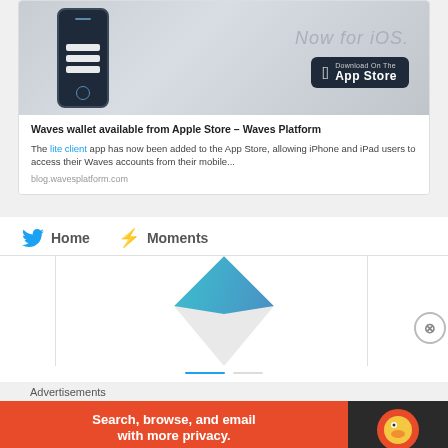[Figure (screenshot): Waves mobile app iOS promotional card showing a phone mockup with 'Now for iOS.' text and Download on the App Store button]
Waves wallet available from Apple Store – Waves Platform
The lite client app has now been added to the App Store, allowing iPhone and iPad users to access their Waves accounts from their mobile...
blog.wavesplatform.com
[Figure (screenshot): Twitter navigation bar showing Home and Moments tabs, with Waves logo diamond shape below]
Advertisements
[Figure (screenshot): DuckDuckGo advertisement banner: Search, browse, and email with more privacy. All in One Free App.]